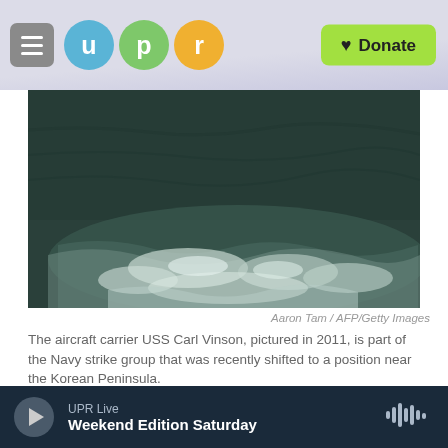UPR — Donate
[Figure (photo): Dark ocean water with white wake/foam from a ship, taken from above]
Aaron Tam / AFP/Getty Images
The aircraft carrier USS Carl Vinson, pictured in 2011, is part of the Navy strike group that was recently shifted to a position near the Korean Peninsula.
North Korea is threatening "tough counteraction" after a U.S. Navy strike group was routed toward
UPR Live
Weekend Edition Saturday